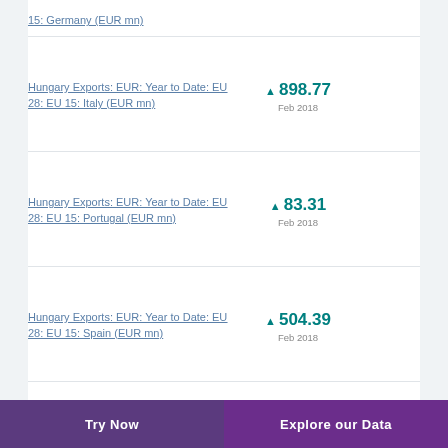Hungary Exports: EUR: Year to Date: EU 28: EU 15: Italy (EUR mn)
Hungary Exports: EUR: Year to Date: EU 28: EU 15: Portugal (EUR mn)
Hungary Exports: EUR: Year to Date: EU 28: EU 15: Spain (EUR mn)
Hungary Exports: EUR: Year to Date: EU 28: EU
Try Now   Explore our Data